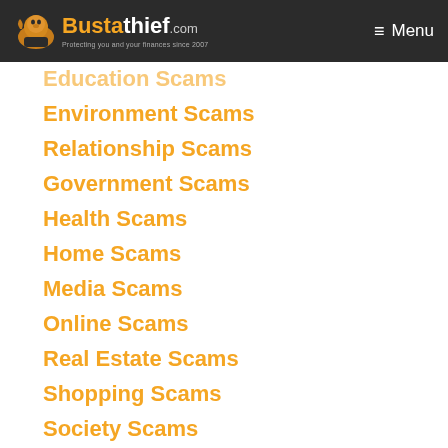Bustathief.com — Protecting you and your finances since 2007 | Menu
Education Scams
Environment Scams
Relationship Scams
Government Scams
Health Scams
Home Scams
Media Scams
Online Scams
Real Estate Scams
Shopping Scams
Society Scams